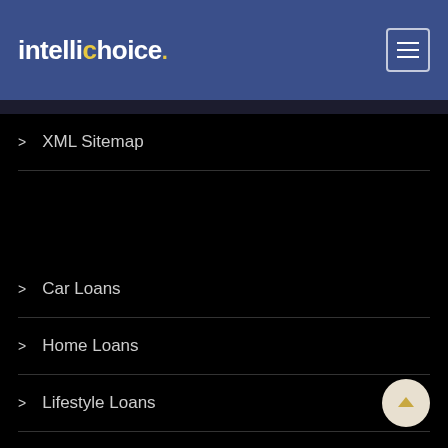[Figure (logo): Intellichoice logo with yellow period/dot accent, white text on dark blue header background with hamburger menu icon]
> XML Sitemap
> Car Loans
> Home Loans
> Lifestyle Loans
> Insurance
> Commercial Funding